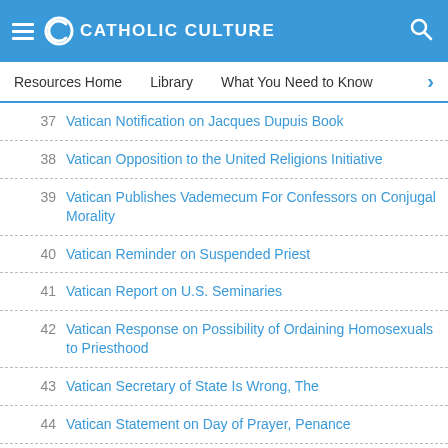CATHOLIC CULTURE
Resources Home | Library | What You Need to Know
37 Vatican Notification on Jacques Dupuis Book
38 Vatican Opposition to the United Religions Initiative
39 Vatican Publishes Vademecum For Confessors on Conjugal Morality
40 Vatican Reminder on Suspended Priest
41 Vatican Report on U.S. Seminaries
42 Vatican Response on Possibility of Ordaining Homosexuals to Priesthood
43 Vatican Secretary of State Is Wrong, The
44 Vatican Statement on Day of Prayer, Penance
45 Vatican Statement on False UNFPA Allegations
46 Vatican Statement on Legionaries of Christ
47 Vatican Summit Opening on Feast of St. Peter Damian Is Providential
48 Vatican To Take Control Over Translations